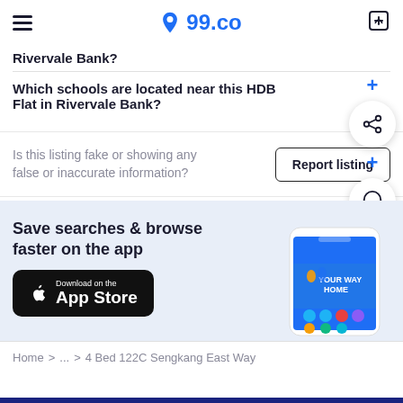99.co
Rivervale Bank?
Which schools are located near this HDB Flat in Rivervale Bank?
Is this listing fake or showing any false or inaccurate information?
Report listing
Save searches & browse faster on the app
Download on the App Store
[Figure (screenshot): Phone mockup showing 99.co app with 'Your Way Home' banner]
Home > ... > 4 Bed 122C Sengkang East Way